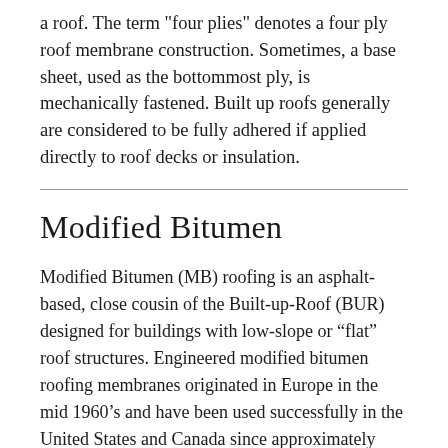a roof. The term "four plies" denotes a four ply roof membrane construction. Sometimes, a base sheet, used as the bottommost ply, is mechanically fastened. Built up roofs generally are considered to be fully adhered if applied directly to roof decks or insulation.
Modified Bitumen
Modified Bitumen (MB) roofing is an asphalt-based, close cousin of the Built-up-Roof (BUR) designed for buildings with low-slope or “flat” roof structures. Engineered modified bitumen roofing membranes originated in Europe in the mid 1960’s and have been used successfully in the United States and Canada since approximately 1975.